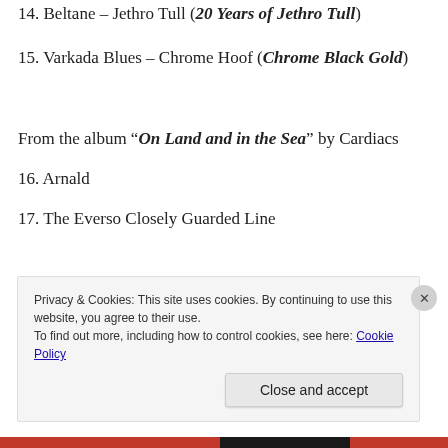14. Beltane – Jethro Tull (20 Years of Jethro Tull)
15. Varkada Blues – Chrome Hoof (Chrome Black Gold)
From the album “On Land and in the Sea” by Cardiacs
16. Arnald
17. The Everso Closely Guarded Line
Privacy & Cookies: This site uses cookies. By continuing to use this website, you agree to their use.
To find out more, including how to control cookies, see here: Cookie Policy
Close and accept